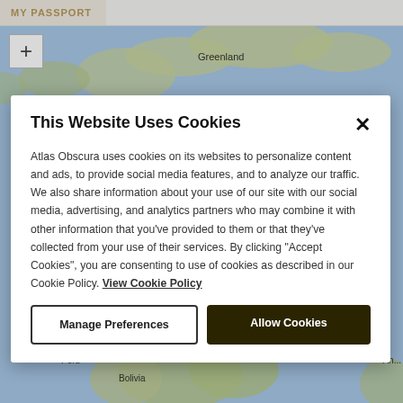MY PASSPORT
[Figure (map): World map background showing Greenland and South America regions, blue ocean with green/brown land masses]
This Website Uses Cookies
Atlas Obscura uses cookies on its websites to personalize content and ads, to provide social media features, and to analyze our traffic. We also share information about your use of our site with our social media, advertising, and analytics partners who may combine it with other information that you've provided to them or that they've collected from your use of their services. By clicking "Accept Cookies", you are consenting to use of cookies as described in our Cookie Policy. View Cookie Policy